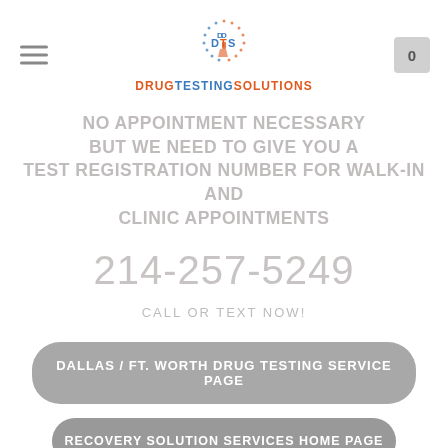[Figure (logo): Drug Testing Solutions logo with DTS circular icon and company name in red and blue text]
NO APPOINTMENT NECESSARY BUT WE NEED TO GIVE YOU A TEST REGISTRATION NUMBER FOR WALK-IN AND CLINIC APPOINTMENTS
214-257-5249
CALL OR TEXT NOW!
DALLAS / FT. WORTH DRUG TESTING SERVICE PAGE
RECOVERY SOLUTION SERVICES HOME PAGE
SEND AN EMAIL TO DRUG TESTING SOLUTIONS